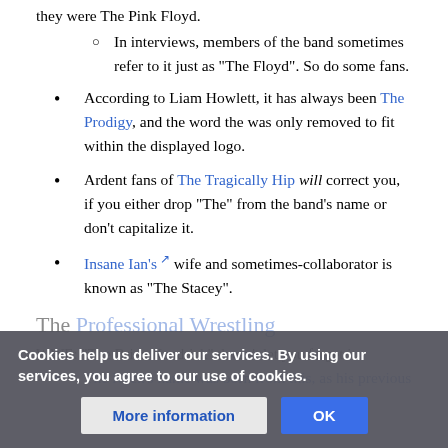they were The Pink Floyd.
In interviews, members of the band sometimes refer to it just as "The Floyd". So do some fans.
According to Liam Howlett, it has always been The Prodigy, and the word the was only removed to fit within the displayed logo.
Ardent fans of The Tragically Hip will correct you, if you either drop "The" from the band's name or don't capitalize it.
Insane Ian's [external link] wife and sometimes-collaborator is known as "The Stacey".
The Professional Wrestling
WWE: "The Brian Kendrick" doesn't let you forget it.
The Rock's name was born from this, as his previous
Cookies help us deliver our services. By using our services, you agree to our use of cookies.